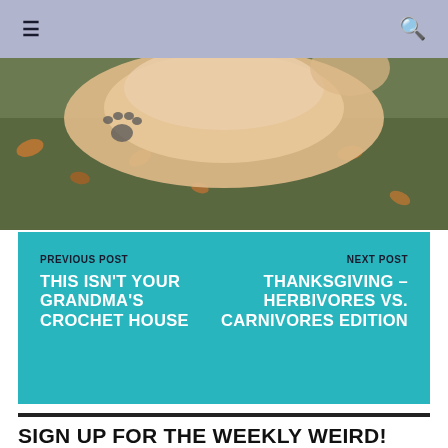≡  🔍
[Figure (photo): A hand with a paw print tattoo on the wrist, resting against grass with autumn leaves]
PREVIOUS POST
THIS ISN'T YOUR GRANDMA'S CROCHET HOUSE
NEXT POST
THANKSGIVING – HERBIVORES VS. CARNIVORES EDITION
SIGN UP FOR THE WEEKLY WEIRD!
Sign up for our Newsletter and get weird news and exclusive offers to Ripley's, delivered straight to your inbox!